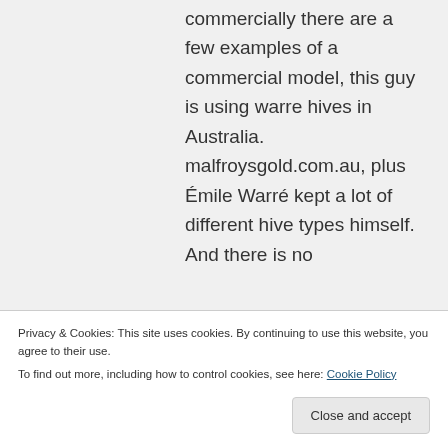commercially there are a few examples of a commercial model, this guy is using warre hives in Australia. malfroysgold.com.au, plus Émile Warré kept a lot of different hive types himself. And there is no
there is a group in LA
Privacy & Cookies: This site uses cookies. By continuing to use this website, you agree to their use. To find out more, including how to control cookies, see here: Cookie Policy